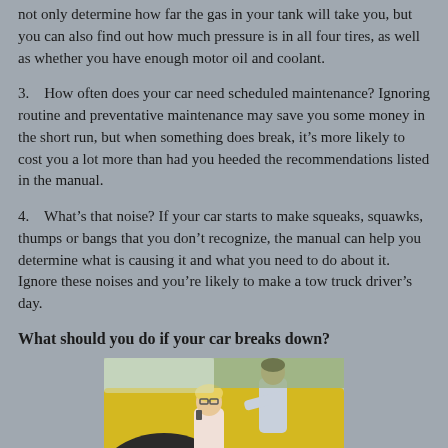not only determine how far the gas in your tank will take you, but you can also find out how much pressure is in all four tires, as well as whether you have enough motor oil and coolant.
3.   How often does your car need scheduled maintenance? Ignoring routine and preventative maintenance may save you some money in the short run, but when something does break, it’s more likely to cost you a lot more than had you heeded the recommendations listed in the manual.
4.   What’s that noise? If your car starts to make squeaks, squawks, thumps or bangs that you don’t recognize, the manual can help you determine what is causing it and what you need to do about it.  Ignore these noises and you’re likely to make a tow truck driver’s day.
What should you do if your car breaks down?
[Figure (photo): A man and a woman looking under the hood of a yellow car; the woman appears to be on the phone.]